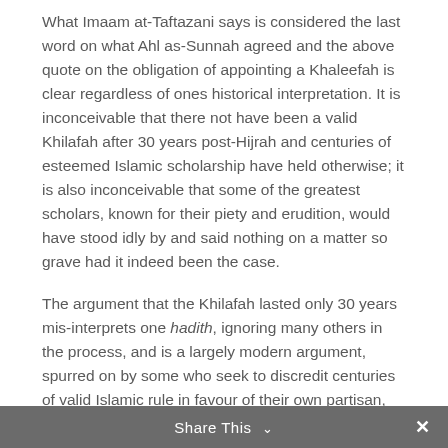What Imaam at-Taftazani says is considered the last word on what Ahl as-Sunnah agreed and the above quote on the obligation of appointing a Khaleefah is clear regardless of ones historical interpretation. It is inconceivable that there not have been a valid Khilafah after 30 years post-Hijrah and centuries of esteemed Islamic scholarship have held otherwise; it is also inconceivable that some of the greatest scholars, known for their piety and erudition, would have stood idly by and said nothing on a matter so grave had it indeed been the case.
The argument that the Khilafah lasted only 30 years mis-interprets one hadith, ignoring many others in the process, and is a largely modern argument, spurred on by some who seek to discredit centuries of valid Islamic rule in favour of their own partisan, modern political positions.
Share This ∨ ✕